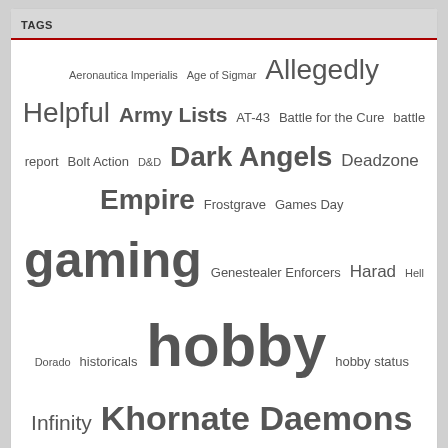TAGS
Aeronautica Imperialis Age of Sigmar Allegedly Helpful Army Lists AT-43 Battle for the Cure battle report Bolt Action D&D Dark Angels Deadzone Empire Frostgrave Games Day gaming Genestealer Enforcers Harad Hell Dorado historicals hobby hobby status Infinity Khornate Daemons Kickstarter Lord of the Rings Malifaux meta-blogging Normans Orks Red Blok review Saga Salzenmund Shadespire Skaven Storm of Magic Tau Empire terrain tournaments Warhammer Warhammer 40K war of the ring Warpstone Pile WFRP year in review
READING
Worlds' End by Neil Gaiman
Saturnine by Dan Abnett